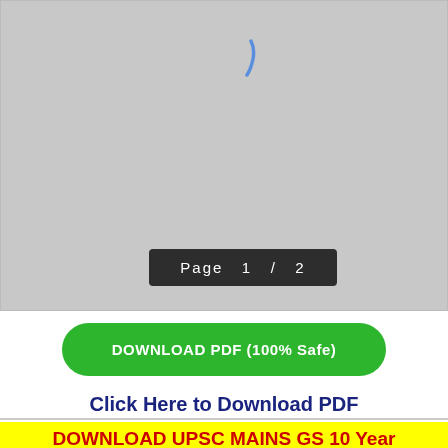[Figure (screenshot): Gray PDF preview area with a blue cursor/mark near the top center, and a dark page indicator overlay showing 'Page 1 / 2']
DOWNLOAD PDF (100% Safe)
Click Here to Download PDF
DOWNLOAD UPSC MAINS GS 10 Year PAPERS PDF